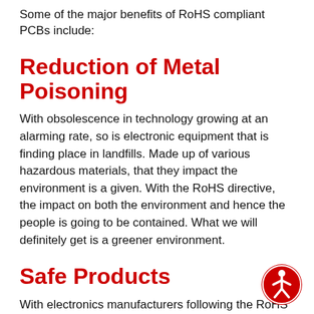Some of the major benefits of RoHS compliant PCBs include:
Reduction of Metal Poisoning
With obsolescence in technology growing at an alarming rate, so is electronic equipment that is finding place in landfills. Made up of various hazardous materials, that they impact the environment is a given. With the RoHS directive, the impact on both the environment and hence the people is going to be contained. What we will definitely get is a greener environment.
Safe Products
With electronics manufacturers following the RoHS compliance, what users get are non-hazardous products that are safe to use.